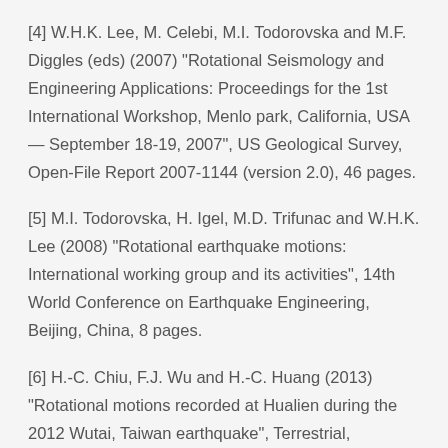[4] W.H.K. Lee, M. Celebi, M.I. Todorovska and M.F. Diggles (eds) (2007) "Rotational Seismology and Engineering Applications: Proceedings for the 1st International Workshop, Menlo park, California, USA — September 18-19, 2007", US Geological Survey, Open-File Report 2007-1144 (version 2.0), 46 pages.
[5] M.I. Todorovska, H. Igel, M.D. Trifunac and W.H.K. Lee (2008) "Rotational earthquake motions: International working group and its activities", 14th World Conference on Earthquake Engineering, Beijing, China, 8 pages.
[6] H.-C. Chiu, F.J. Wu and H.-C. Huang (2013) "Rotational motions recorded at Hualien during the 2012 Wutai, Taiwan earthquake", Terrestrial, Atmospheric and Oceanic